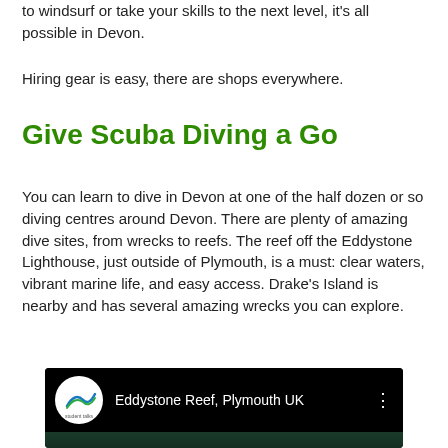to windsurf or take your skills to the next level, it's all possible in Devon.
Hiring gear is easy, there are shops everywhere.
Give Scuba Diving a Go
You can learn to dive in Devon at one of the half dozen or so diving centres around Devon. There are plenty of amazing dive sites, from wrecks to reefs. The reef off the Eddystone Lighthouse, just outside of Plymouth, is a must: clear waters, vibrant marine life, and easy access. Drake's Island is nearby and has several amazing wrecks you can explore.
[Figure (screenshot): Video thumbnail showing 'Eddystone Reef, Plymouth UK' with a logo of a wave/ocean icon labeled 'student talks' on the left, video title text in white, and an underwater scene with coral visible at the bottom.]